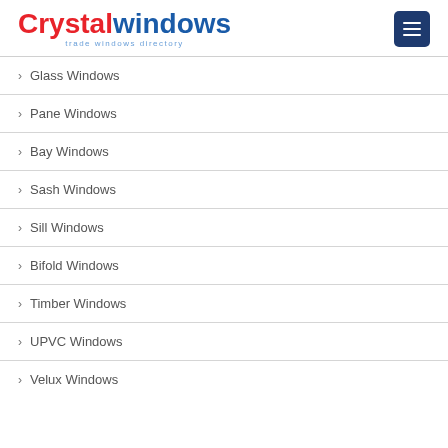Crystalwindows trade windows directory
Glass Windows
Pane Windows
Bay Windows
Sash Windows
Sill Windows
Bifold Windows
Timber Windows
UPVC Windows
Velux Windows